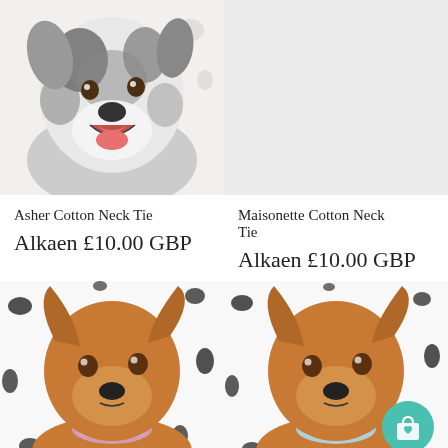[Figure (photo): Close-up photo of a fluffy black and white dog with mouth open and tongue out, wearing a red/orange patterned neck tie, on a white/spotted background]
[Figure (photo): Light grey/white background placeholder — product image not yet loaded]
Asher Cotton Neck Tie
Alkaen £10.00 GBP
Maisonette Cotton Neck Tie
Alkaen £10.00 GBP
[Figure (photo): Close-up photo of a brown/tan dog wearing a floral neck tie, against a white background with black spots]
[Figure (photo): Close-up photo of the same brown/tan dog wearing a light blue neck tie, against a white background with black spots, with a teal shopping bag icon overlay in the bottom right]